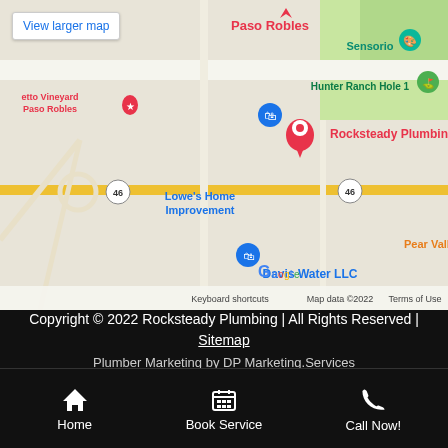[Figure (map): Google Maps screenshot showing Rocksteady Plumbing location in Paso Robles area, with landmarks including Lowe's Home Improvement, Hunter Ranch Hole 1, Davis Water LLC, Sensorio, and route 46. Shows 'View larger map' link, Google branding, keyboard shortcuts, map data ©2022, and Terms of Use.]
Copyright © 2022 Rocksteady Plumbing | All Rights Reserved | Sitemap
Plumber Marketing by DP Marketing.Services
Home   Book Service   Call Now!